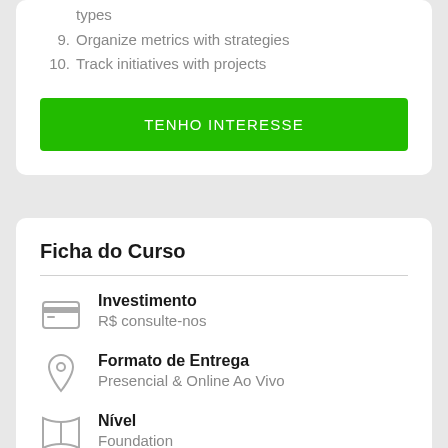types
9. Organize metrics with strategies
10. Track initiatives with projects
TENHO INTERESSE
Ficha do Curso
Investimento
R$ consulte-nos
Formato de Entrega
Presencial & Online Ao Vivo
Nível
Foundation